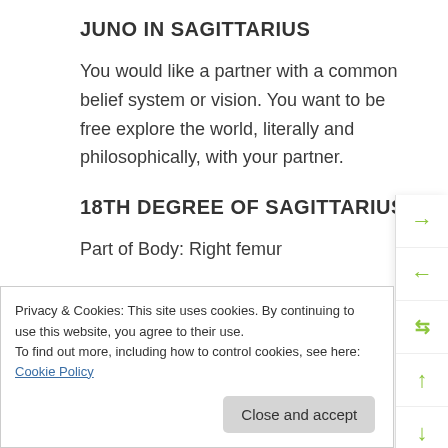JUNO IN SAGITTARIUS
You would like a partner with a common belief system or vision. You want to be free explore the world, literally and philosophically, with your partner.
18TH DEGREE OF SAGITTARIUS
Part of Body: Right femur
Sabian Symbol: Tiny children in sunbonnets.
You feel cared for when people are allowing you to
Privacy & Cookies: This site uses cookies. By continuing to use this website, you agree to their use.
To find out more, including how to control cookies, see here: Cookie Policy